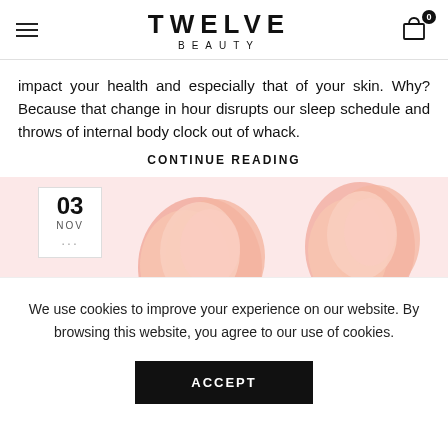TWELVE BEAUTY
impact your health and especially that of your skin. Why? Because that change in hour disrupts our sleep schedule and throws of internal body clock out of whack.
CONTINUE READING
[Figure (photo): Pink roses on a pink background with a white date badge showing 03 NOV]
We use cookies to improve your experience on our website. By browsing this website, you agree to our use of cookies.
ACCEPT